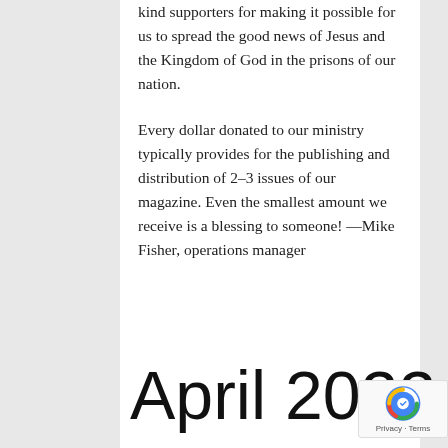kind supporters for making it possible for us to spread the good news of Jesus and the Kingdom of God in the prisons of our nation.
Every dollar donated to our ministry typically provides for the publishing and distribution of 2–3 issues of our magazine. Even the smallest amount we receive is a blessing to someone! —Mike Fisher, operations manager
April 2022